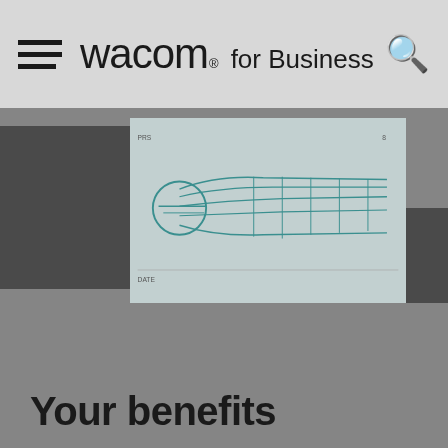wacom® for Business
[Figure (engineering-diagram): Partial view of a Wacom stylus/pen engineering diagram showing a cross-section or side view with teal/cyan technical lines indicating internal components, with small label text 'PRS' and 'DATE' visible. Two dark gray rectangular blocks flank the diagram.]
Your benefits